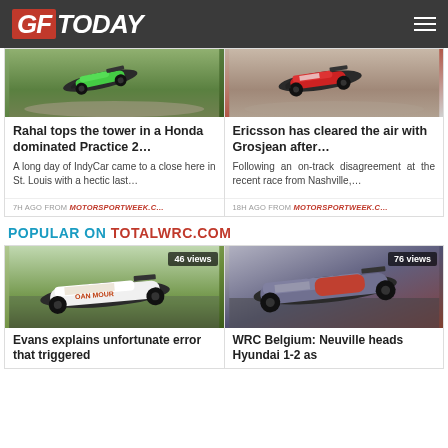GF TODAY
[Figure (photo): Green IndyCar racing on track]
Rahal tops the tower in a Honda dominated Practice 2…
A long day of IndyCar came to a close here in St. Louis with a hectic last…
7H AGO FROM MOTORSPORTWEEK.C…
[Figure (photo): Red and white IndyCar racing on track]
Ericsson has cleared the air with Grosjean after…
Following an on-track disagreement at the recent race from Nashville,…
18H AGO FROM MOTORSPORTWEEK.C…
POPULAR ON TOTALWRC.COM
[Figure (photo): White WRC rally car with 46 views badge]
Evans explains unfortunate error that triggered
[Figure (photo): Grey and red Hyundai WRC rally car with 76 views badge]
WRC Belgium: Neuville heads Hyundai 1-2 as